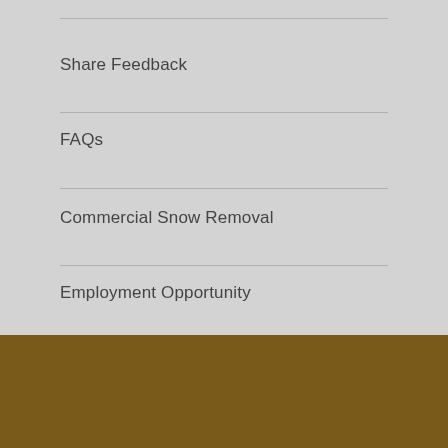Share Feedback
FAQs
Commercial Snow Removal
Employment Opportunity
Privacy Policy
NJ Registration: 13VH003754400